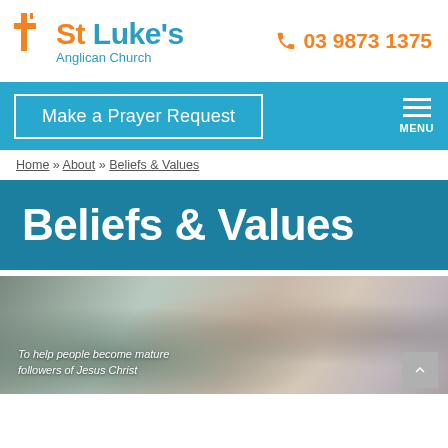[Figure (logo): St Luke's Anglican Church logo with orange cross and blue text]
03 9873 1375
Make a Prayer Request
MENU
Home » About » Beliefs & Values
Beliefs & Values
[Figure (photo): Close-up photo of people's feet/boots with text overlay: To help people become mature followers of Jesus Christ]